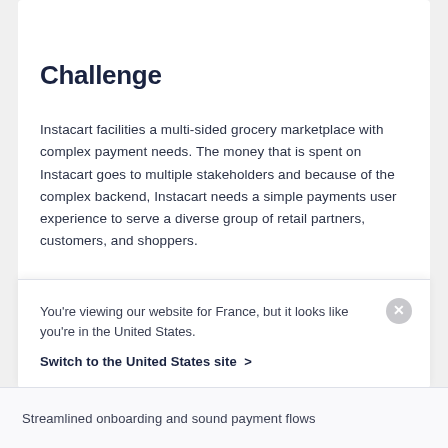Challenge
Instacart facilities a multi-sided grocery marketplace with complex payment needs. The money that is spent on Instacart goes to multiple stakeholders and because of the complex backend, Instacart needs a simple payments user experience to serve a diverse group of retail partners, customers, and shoppers.
You're viewing our website for France, but it looks like you're in the United States.
Switch to the United States site ›
Streamlined onboarding and sound payment flows